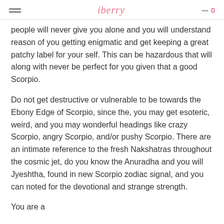iberry 0
people will never give you alone and you will understand reason of you getting enigmatic and get keeping a great patchy label for your self. This can be hazardous that will along with never be perfect for you given that a good Scorpio.
Do not get destructive or vulnerable to be towards the Ebony Edge of Scorpio, since the, you may get esoteric, weird, and you may wonderful headings like crazy Scorpio, angry Scorpio, and/or pushy Scorpio. There are an intimate reference to the fresh Nakshatras throughout the cosmic jet, do you know the Anuradha and you will Jyeshtha, found in new Scorpio zodiac signal, and you can noted for the devotional and strange strength.
You are a...